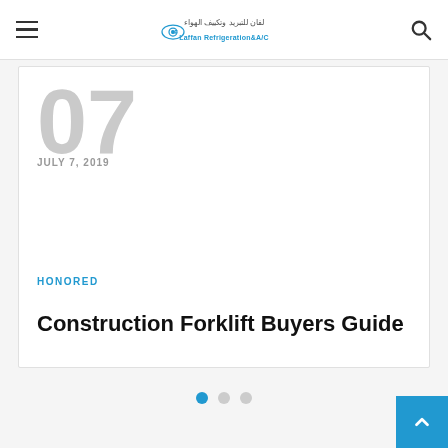Laffan Refrigeration & A/C
07
JULY 7, 2019
HONORED
Construction Forklift Buyers Guide